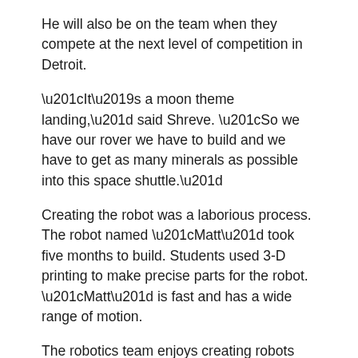He will also be on the team when they compete at the next level of competition in Detroit.
“It’s a moon theme landing,” said Shreve. “So we have our rover we have to build and we have to get as many minerals as possible into this space shuttle.”
Creating the robot was a laborious process. The robot named “Matt” took five months to build. Students used 3-D printing to make precise parts for the robot. “Matt” is fast and has a wide range of motion.
The robotics team enjoys creating robots and the problem solving that comes along with the competition.
“I like solving these problems,” said Shreve. “Instead of saying yes, this is a problem, it has to be